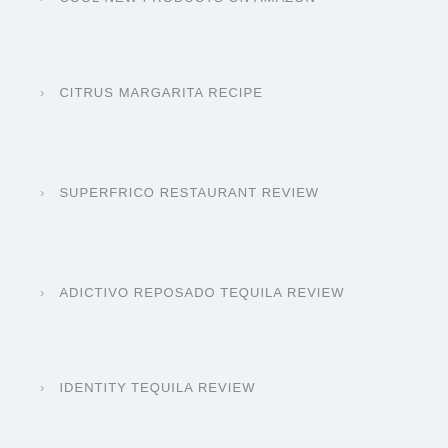COOL NEW PRODUCTS ON AMAZON
CITRUS MARGARITA RECIPE
SUPERFRICO RESTAURANT REVIEW
ADICTIVO REPOSADO TEQUILA REVIEW
IDENTITY TEQUILA REVIEW
Archives
SEPTEMBER 2022
JUNE 2022